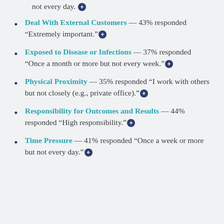Deal With External Customers — 43% responded “Extremely important.”
Exposed to Disease or Infections — 37% responded “Once a month or more but not every week.”
Physical Proximity — 35% responded “I work with others but not closely (e.g., private office).”
Responsibility for Outcomes and Results — 44% responded “High responsibility.”
Time Pressure — 41% responded “Once a week or more but not every day.”